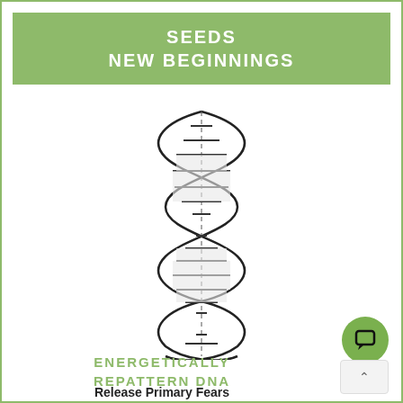SEEDS
NEW BEGINNINGS
[Figure (illustration): DNA double helix illustration, black line drawing on white background]
ENERGETICALLY
REPATTERN DNA
Release Primary Fears